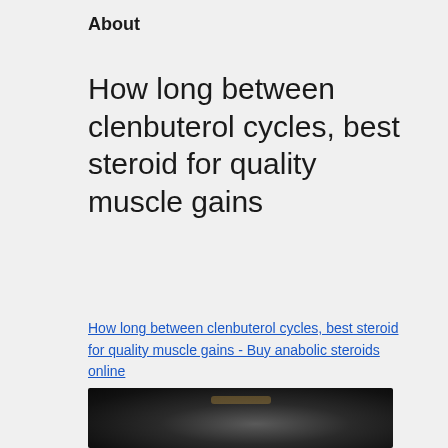About
How long between clenbuterol cycles, best steroid for quality muscle gains
How long between clenbuterol cycles, best steroid for quality muscle gains - Buy anabolic steroids online
[Figure (photo): Dark background photo, partially visible, appears to be a bodybuilding or steroid-related product image with a faint amber/gold text label at the top center]